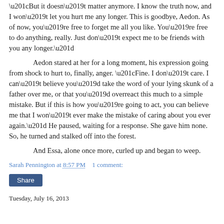“But it doesn’t matter anymore. I know the truth now, and I won’t let you hurt me any longer. This is goodbye, Aedon. As of now, you’re free to forget me all you like. You’re free to do anything, really. Just don’t expect me to be friends with you any longer.”
Aedon stared at her for a long moment, his expression going from shock to hurt to, finally, anger. “Fine. I don’t care. I can’t believe you’d take the word of your lying skunk of a father over me, or that you’d overreact this much to a simple mistake. But if this is how you’re going to act, you can believe me that I won’t ever make the mistake of caring about you ever again.” He paused, waiting for a response. She gave him none. So, he turned and stalked off into the forest.
And Essa, alone once more, curled up and began to weep.
Sarah Pennington at 8:57 PM    1 comment:
Share
Tuesday, July 16, 2013